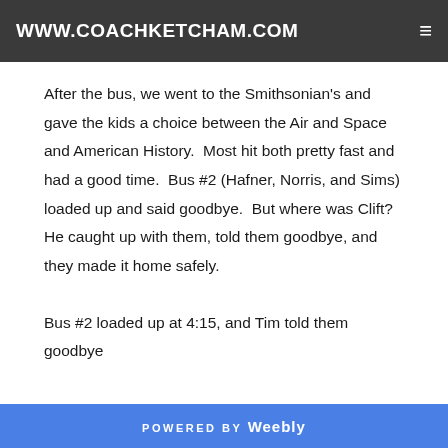WWW.COACHKETCHAM.COM
After the bus, we went to the Smithsonian's and gave the kids a choice between the Air and Space and American History.  Most hit both pretty fast and had a good time.  Bus #2 (Hafner, Norris, and Sims) loaded up and said goodbye.  But where was Clift?  He caught up with them, told them goodbye, and they made it home safely.
Bus #2 loaded up at 4:15, and Tim told them goodbye
POWERED BY Weebly